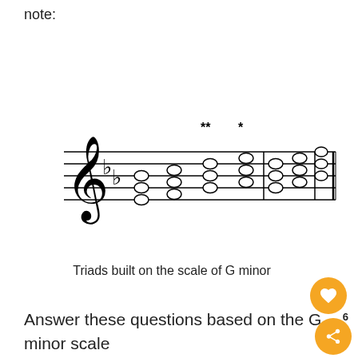note:
[Figure (illustration): Music staff in treble clef with two flats (B-flat and E-flat) showing triads built on the G minor scale. Eight triads (three-note chords stacked on the staff). The third and fourth triads are marked with ** and * respectively above the staff.]
Triads built on the scale of G minor
Answer these questions based on the G minor scale above: